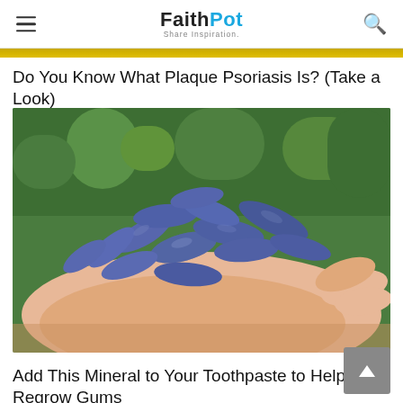FaithPot — Share Inspiration
Do You Know What Plaque Psoriasis Is? (Take a Look)
[Figure (photo): A hand holding a pile of elongated blue-purple berries (haskap/honeyberries) against a green leafy background]
Add This Mineral to Your Toothpaste to Help Regrow Gums